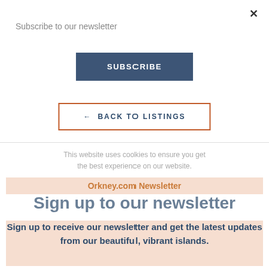Subscribe to our newsletter
SUBSCRIBE
← BACK TO LISTINGS
This website uses cookies to ensure you get the best experience on our website.
Orkney.com Newsletter
Sign up to our newsletter
Sign up to receive our newsletter and get the latest updates from our beautiful, vibrant islands.